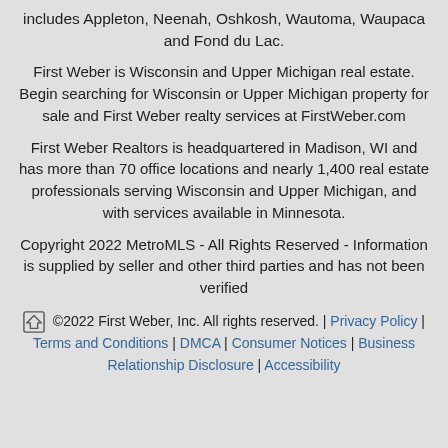includes Appleton, Neenah, Oshkosh, Wautoma, Waupaca and Fond du Lac.
First Weber is Wisconsin and Upper Michigan real estate. Begin searching for Wisconsin or Upper Michigan property for sale and First Weber realty services at FirstWeber.com
First Weber Realtors is headquartered in Madison, WI and has more than 70 office locations and nearly 1,400 real estate professionals serving Wisconsin and Upper Michigan, and with services available in Minnesota.
Copyright 2022 MetroMLS - All Rights Reserved - Information is supplied by seller and other third parties and has not been verified
©2022 First Weber, Inc. All rights reserved. | Privacy Policy | Terms and Conditions | DMCA | Consumer Notices | Business Relationship Disclosure | Accessibility